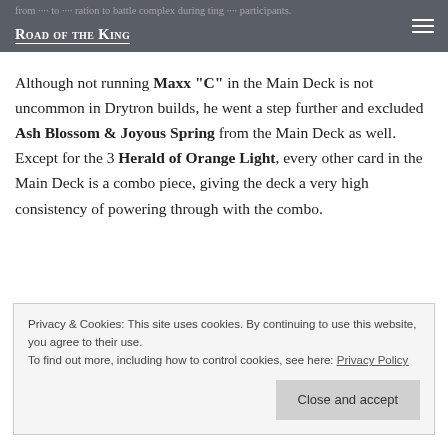Road of the King
Although not running Maxx “C” in the Main Deck is not uncommon in Drytron builds, he went a step further and excluded Ash Blossom & Joyous Spring from the Main Deck as well. Except for the 3 Herald of Orange Light, every other card in the Main Deck is a combo piece, giving the deck a very high consistency of powering through with the combo.
Privacy & Cookies: This site uses cookies. By continuing to use this website, you agree to their use.
To find out more, including how to control cookies, see here: Privacy Policy